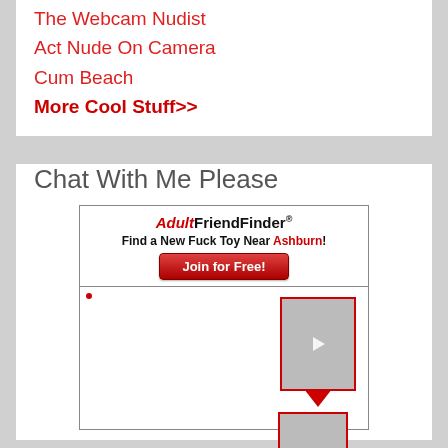The Webcam Nudist
Act Nude On Camera
Cum Beach
More Cool Stuff>>
Chat With Me Please
[Figure (other): AdultFriendFinder advertisement widget with 'Find a New Fuck Toy Near Ashburn!' text, Join for Free button, and two thumbnail images of women]